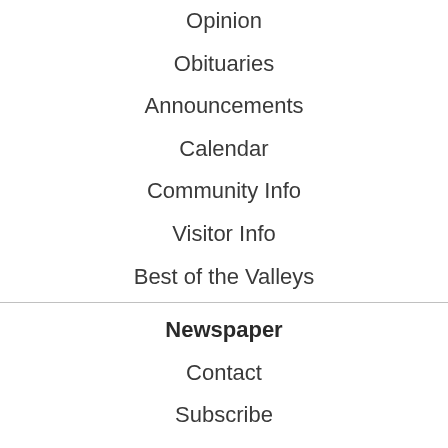Opinion
Obituaries
Announcements
Calendar
Community Info
Visitor Info
Best of the Valleys
Newspaper
Contact
Subscribe
About
Website
Terms of Use